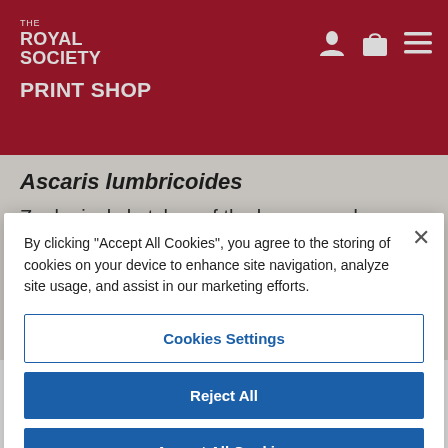THE ROYAL SOCIETY PRINT SHOP
Ascaris lumbricoides
Zoological sketches of the large roundworm Ascaris lumbricoides. Two anatomical studies showing the human parasite nematode: structures of the female (left) and the male (right). Original studies within the Cambridge
By clicking "Accept All Cookies", you agree to the storing of cookies on your device to enhance site navigation, analyze site usage, and assist in our marketing efforts.
Cookies Settings
Reject All
Accept All Cookies